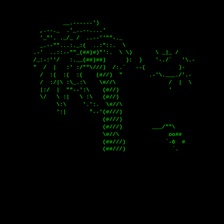[Figure (illustration): ASCII art illustration rendered in green monospace characters on a black background, depicting a figure or character made of symbols including #, /, \, (, ), |, :, ., -, _, ', ", o and other punctuation characters.]